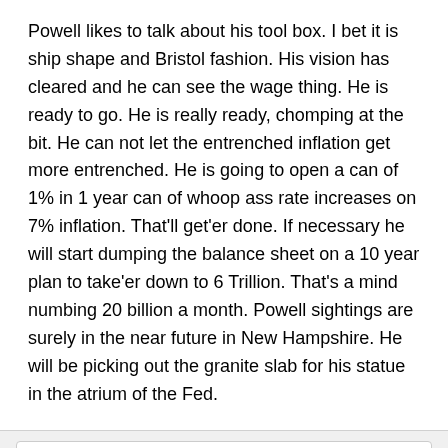Powell likes to talk about his tool box. I bet it is ship shape and Bristol fashion. His vision has cleared and he can see the wage thing. He is ready to go. He is really ready, chomping at the bit. He can not let the entrenched inflation get more entrenched. He is going to open a can of 1% in 1 year can of whoop ass rate increases on 7% inflation. That'll get'er done. If necessary he will start dumping the balance sheet on a 10 year plan to take'er down to 6 Trillion. That's a mind numbing 20 billion a month. Powell sightings are surely in the near future in New Hampshire. He will be picking out the granite slab for his statue in the atrium of the Fed.
sunny129